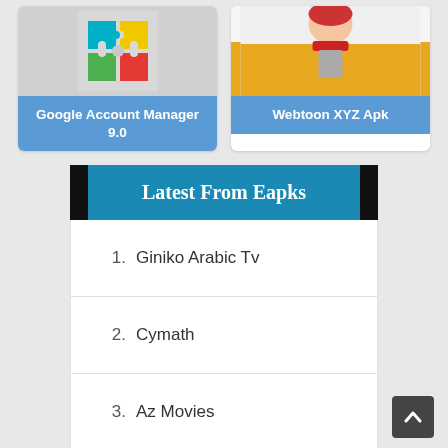[Figure (screenshot): Google Account Manager 9.0 app card with colorful puzzle-piece style icon on grey background]
Google Account Manager 9.0
[Figure (screenshot): Webtoon XYZ Apk app card with anime character on yellow/white background]
Webtoon XYZ Apk
Latest From Eapks
1. Giniko Arabic Tv
2. Cymath
3. Az Movies
4. Acetv
5. RTS TV